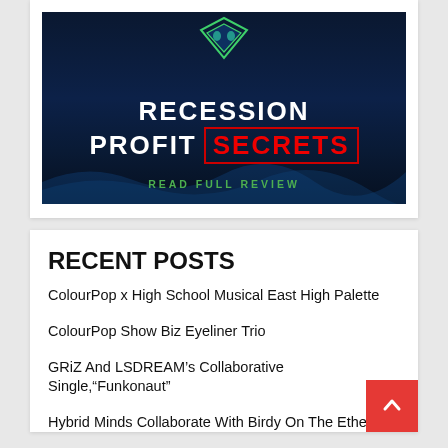[Figure (illustration): Recession Profit Secrets banner with dark blue background, glowing wave patterns, green masked face icon, white bold text 'RECESSION PROFIT SECRETS' (SECRETS in red with red border), and green text 'READ FULL REVIEW' below.]
RECENT POSTS
ColourPop x High School Musical East High Palette
ColourPop Show Biz Eyeliner Trio
GRiZ And LSDREAM's Collaborative Single,"Funkonaut"
Hybrid Minds Collaborate With Birdy On The Ethereal